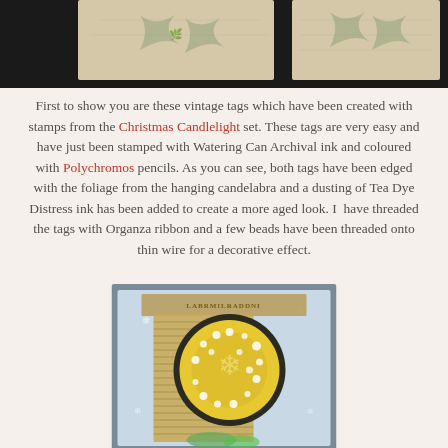[Figure (photo): Top portion of a dark-bordered photo showing vintage tags with stamped botanical/foliage designs on cream paper, displayed against a black background]
First to show you are these vintage tags which have been created with stamps from the Christmas Candlelight set. These tags are very easy and have just been stamped with Watering Can Archival ink and coloured with Polychromos pencils. As you can see, both tags have been edged with the foliage from the hanging candelabra and a dusting of Tea Dye Distress ink has been added to create a more aged look. I  have threaded the tags with Organza ribbon and a few beads have been threaded onto thin wire for a decorative effect.
[Figure (photo): A decorative craft card with a yellow circular medallion embellished with rhinestones/gems, mounted on burlap/hessian fabric strip, on a light blue background with small snowflake details]